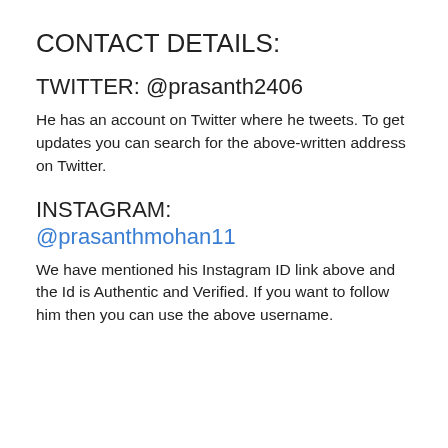CONTACT DETAILS:
TWITTER: @prasanth2406
He has an account on Twitter where he tweets. To get updates you can search for the above-written address on Twitter.
INSTAGRAM:
@prasanthmohan11
We have mentioned his Instagram ID link above and the Id is Authentic and Verified. If you want to follow him then you can use the above username.